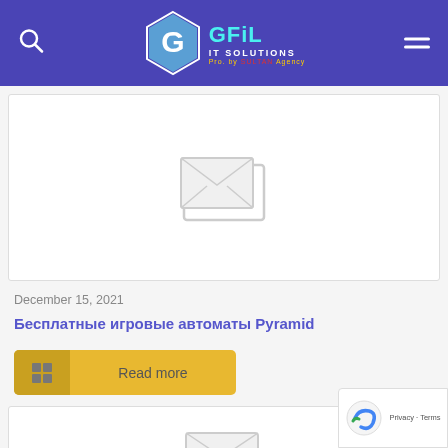GFiL IT Solutions
[Figure (photo): Placeholder image thumbnail (broken/missing image icon) in white card]
December 15, 2021
Бесплатные игровые автоматы Pyramid
Read more
[Figure (photo): Second placeholder image thumbnail (broken/missing image icon) in white card]
[Figure (other): reCAPTCHA badge showing Privacy - Terms]